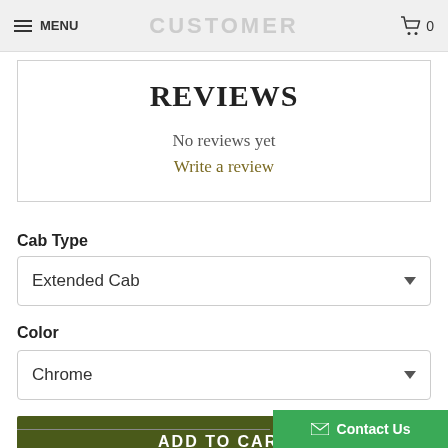MENU  CUSTOMER  0
REVIEWS
No reviews yet
Write a review
Cab Type
Extended Cab
Color
Chrome
ADD TO CART
Contact Us